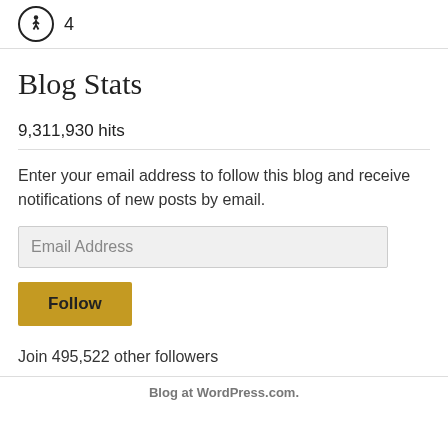[Figure (other): Walking person icon in a circle with the number 4 next to it]
Blog Stats
9,311,930 hits
Enter your email address to follow this blog and receive notifications of new posts by email.
Email Address
Follow
Join 495,522 other followers
Blog at WordPress.com.